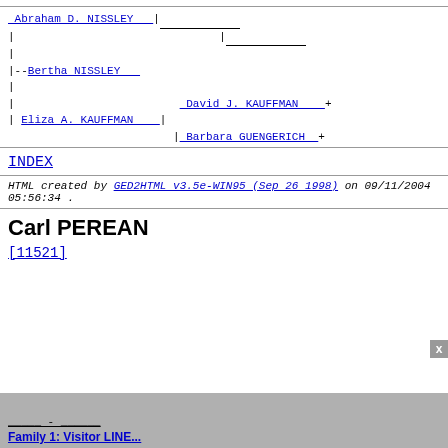Abraham D. NISSLEY | [lines] | | |--Bertha NISSLEY | | | David J. KAUFFMAN + | Eliza A. KAUFFMAN | | Barbara GUENGERICH +
INDEX
HTML created by GED2HTML v3.5e-WIN95 (Sep 26 1998) on 09/11/2004 05:56:34 .
Carl PEREAN
[11521]
Family 1: Visitor LINE...